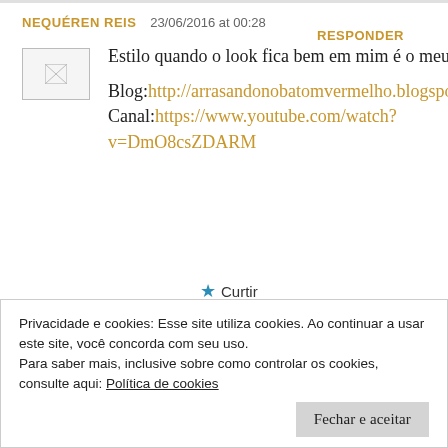NEQUÉREN REIS   23/06/2016 at 00:28   RESPONDER
[Figure (other): Small broken image placeholder / avatar thumbnail]
Estilo quando o look fica bem em mim é o meu estilo
Blog:http://arrasandonobatomvermelho.blogspot.com.br/
Canal:https://www.youtube.com/watch?v=DmO8csZDARM
★ Curtir
Privacidade e cookies: Esse site utiliza cookies. Ao continuar a usar este site, você concorda com seu uso.
Para saber mais, inclusive sobre como controlar os cookies, consulte aqui: Política de cookies
Fechar e aceitar